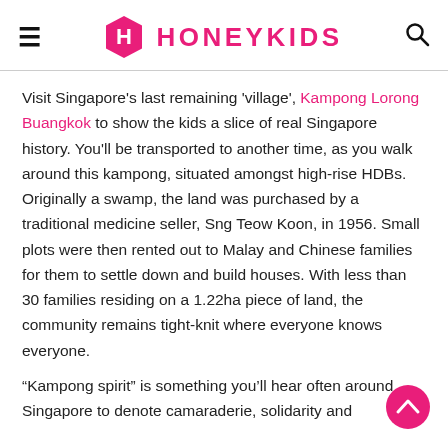HONEYKIDS
Visit Singapore's last remaining 'village', Kampong Lorong Buangkok to show the kids a slice of real Singapore history. You'll be transported to another time, as you walk around this kampong, situated amongst high-rise HDBs. Originally a swamp, the land was purchased by a traditional medicine seller, Sng Teow Koon, in 1956. Small plots were then rented out to Malay and Chinese families for them to settle down and build houses. With less than 30 families residing on a 1.22ha piece of land, the community remains tight-knit where everyone knows everyone.
“Kampong spirit” is something you’ll hear often around Singapore to denote camaraderie, solidarity and